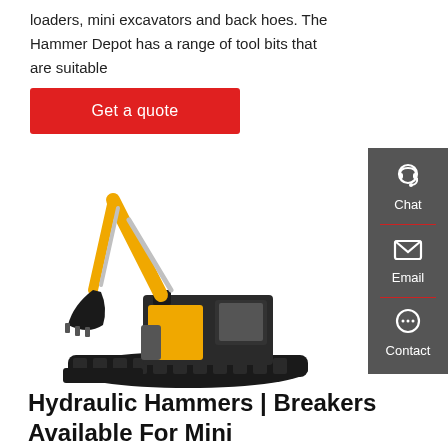loaders, mini excavators and back hoes. The Hammer Depot has a range of tool bits that are suitable
Get a quote
[Figure (photo): Yellow and black mini excavator on white background]
[Figure (infographic): Dark grey sidebar with Chat, Email, and Contact icons]
Hydraulic Hammers | Breakers Available For Mini